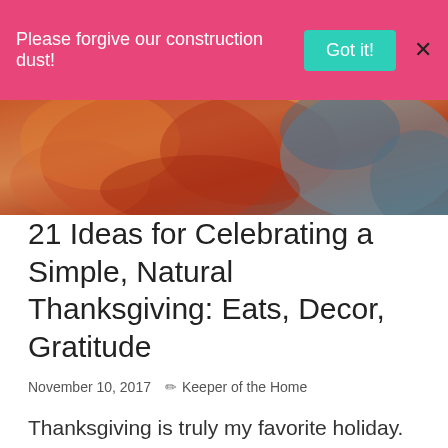Please forgive our construction dust!  Got it!  X
[Figure (photo): Close-up photo of food items including what appears to be a roasted or baked dish with warm orange/red tones, partially cropped at top of article]
21 Ideas for Celebrating a Simple, Natural Thanksgiving: Eats, Decor, Gratitude
November 10, 2017   ✏ Keeper of the Home
Thanksgiving is truly my favorite holiday. In fact, it is the one holiday my husband and I ask the entire family to come over and celebrate what we are most grateful for while eating delicious food surrounded by gorgeous and natural Fall decor. Can we say YUM and how THANKFUL we are for